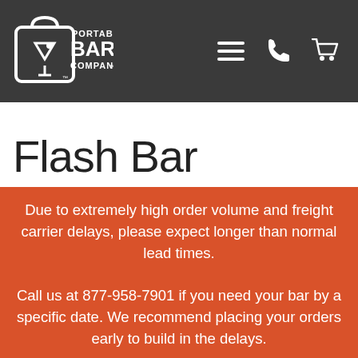[Figure (logo): Portable Bar Company logo with martini glass icon and text]
Flash Bar
Due to extremely high order volume and freight carrier delays, please expect longer than normal lead times. Call us at 877-958-7901 if you need your bar by a specific date. We recommend placing your orders early to build in the delays.
Dismiss